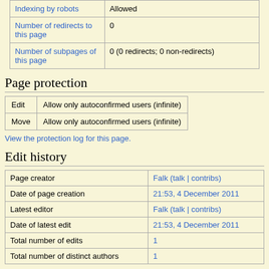|  |  |
| --- | --- |
| Indexing by robots | Allowed |
| Number of redirects to this page | 0 |
| Number of subpages of this page | 0 (0 redirects; 0 non-redirects) |
Page protection
|  |  |
| --- | --- |
| Edit | Allow only autoconfirmed users (infinite) |
| Move | Allow only autoconfirmed users (infinite) |
View the protection log for this page.
Edit history
|  |  |
| --- | --- |
| Page creator | Falk (talk | contribs) |
| Date of page creation | 21:53, 4 December 2011 |
| Latest editor | Falk (talk | contribs) |
| Date of latest edit | 21:53, 4 December 2011 |
| Total number of edits | 1 |
| Total number of distinct authors | 1 |